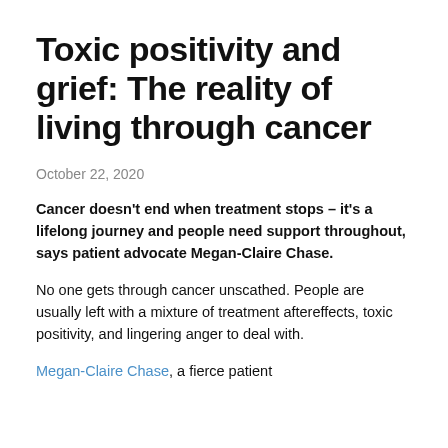Toxic positivity and grief: The reality of living through cancer
October 22, 2020
Cancer doesn't end when treatment stops – it's a lifelong journey and people need support throughout, says patient advocate Megan-Claire Chase.
No one gets through cancer unscathed. People are usually left with a mixture of treatment aftereffects, toxic positivity, and lingering anger to deal with.
Megan-Claire Chase, a fierce patient